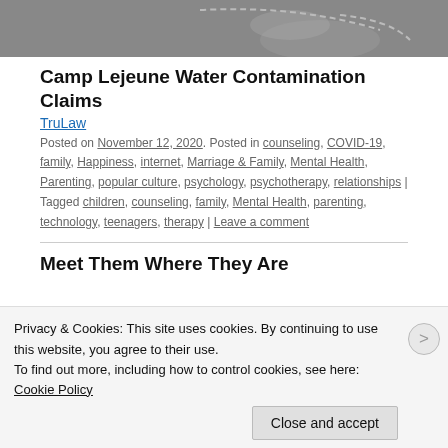[Figure (photo): Grayscale image of hands, partially visible at the top of the page]
Camp Lejeune Water Contamination Claims
TruLaw
Posted on November 12, 2020. Posted in counseling, COVID-19, family, Happiness, internet, Marriage & Family, Mental Health, Parenting, popular culture, psychology, psychotherapy, relationships | Tagged children, counseling, family, Mental Health, parenting, technology, teenagers, therapy | Leave a comment
Meet Them Where They Are
Privacy & Cookies: This site uses cookies. By continuing to use this website, you agree to their use. To find out more, including how to control cookies, see here: Cookie Policy